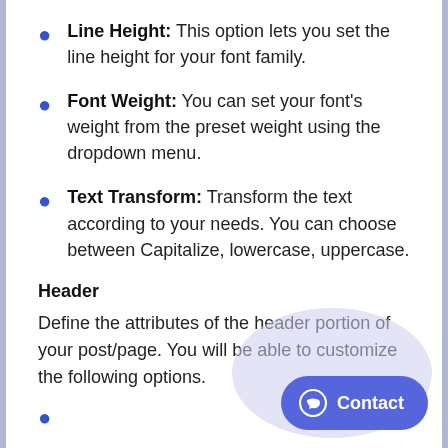Line Height: This option lets you set the line height for your font family.
Font Weight: You can set your font's weight from the preset weight using the dropdown menu.
Text Transform: Transform the text according to your needs. You can choose between Capitalize, lowercase, uppercase.
Header
Define the attributes of the header portion of your post/page. You will be able to customize the following options.